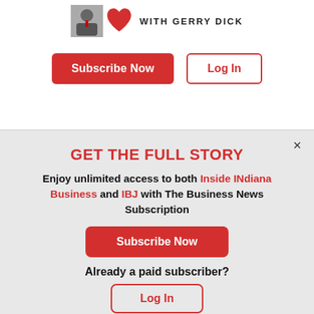[Figure (logo): Inside INdiana Business with Gerry Dick logo — headshot photo, red heart graphic, and text 'WITH GERRY DICK']
Subscribe Now   Log In
his work has benefitted thousands of people across the globe."
GET THE FULL STORY
Enjoy unlimited access to both Inside INdiana Business and IBJ with The Business News Subscription
Subscribe Now
Already a paid subscriber?
Log In